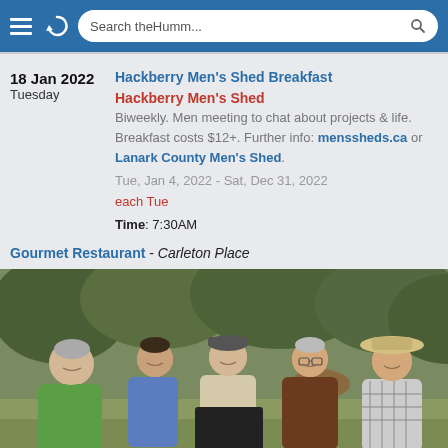Search theHumm...
18 Jan 2022
Tuesday
Hackberry Men's Shed Breakfast
Hackberry Men's Shed
Biweekly. Men meeting to chat about projects & life. Breakfast costs $12+. Further info: menssheds.ca or Lanark County Men's Shed.
Tue, Jan 4, 2022 - Sat, Dec 31, 2022
each Tue
Time: 7:30AM
Gourmet Restaurant - Carleton Place
[Figure (photo): Five men standing outdoors in a field/natural area, smiling at the camera. The man on the left is wearing a green t-shirt, next to him a younger man in a blue shirt, then a man in a cap holding a dark panel, then a man in a brown shirt, and on the far right a man in a plaid shirt and wide-brim hat. Trees and vegetation in background.]